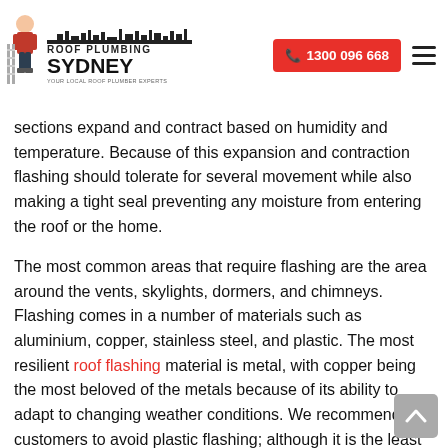Roof Plumbing Sydney | 1300 096 668
sections expand and contract based on humidity and temperature. Because of this expansion and contraction flashing should tolerate for several movement while also making a tight seal preventing any moisture from entering the roof or the home.
The most common areas that require flashing are the area around the vents, skylights, dormers, and chimneys. Flashing comes in a number of materials such as aluminium, copper, stainless steel, and plastic. The most resilient roof flashing material is metal, with copper being the most beloved of the metals because of its ability to adapt to changing weather conditions. We recommend our customers to avoid plastic flashing; although it is the least expensive kind of roof flashing, it is not durable and